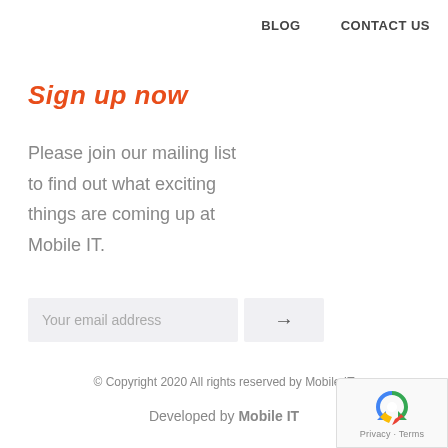BLOG   CONTACT US
Sign up now
Please join our mailing list to find out what exciting things are coming up at Mobile IT.
[Figure (other): Email address input field with placeholder text 'Your email address' and an arrow submit button]
© Copyright 2020 All rights reserved by Mobile IT
Developed by Mobile IT
[Figure (other): reCAPTCHA widget showing a spinning arrows icon with 'Privacy - Terms' text below]